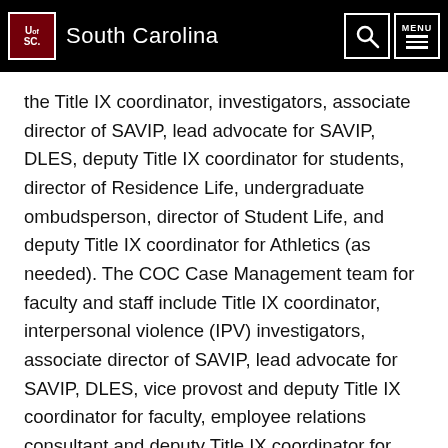University of South Carolina
the Title IX coordinator, investigators, associate director of SAVIP, lead advocate for SAVIP, DLES, deputy Title IX coordinator for students, director of Residence Life, undergraduate ombudsperson, director of Student Life, and deputy Title IX coordinator for Athletics (as needed). The COC Case Management team for faculty and staff include Title IX coordinator, interpersonal violence (IPV) investigators, associate director of SAVIP, lead advocate for SAVIP, DLES, vice provost and deputy Title IX coordinator for faculty, employee relations consultant and deputy Title IX coordinator for staff, and deputy Title IX coordinator for Athletics (as needed). These groups meet weekly. This change addresses issues regarding the